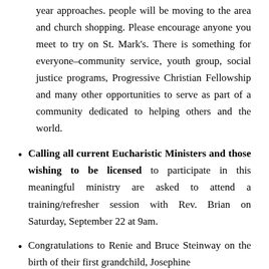year approaches. people will be moving to the area and church shopping. Please encourage anyone you meet to try on St. Mark's. There is something for everyone–community service, youth group, social justice programs, Progressive Christian Fellowship and many other opportunities to serve as part of a community dedicated to helping others and the world.
Calling all current Eucharistic Ministers and those wishing to be licensed to participate in this meaningful ministry are asked to attend a training/refresher session with Rev. Brian on Saturday, September 22 at 9am.
Congratulations to Renie and Bruce Steinway on the birth of their first grandchild, Josephine